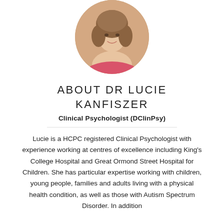[Figure (photo): Circular portrait photo of Dr Lucie Kanfiszer, a woman with shoulder-length brown hair wearing a pink top, shown from the shoulders up against a white background.]
ABOUT DR LUCIE KANFISZER
Clinical Psychologist (DClinPsy)
Lucie is a HCPC registered Clinical Psychologist with experience working at centres of excellence including King's College Hospital and Great Ormond Street Hospital for Children. She has particular expertise working with children, young people, families and adults living with a physical health condition, as well as those with Autism Spectrum Disorder. In addition